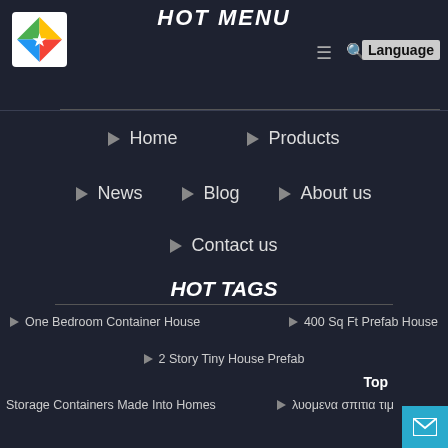HOT MENU
Home
Products
News
Blog
About us
Contact us
HOT TAGS
One Bedroom Container House
400 Sq Ft Prefab House
2 Story Tiny House Prefab
Storage Containers Made Into Homes
λυομενα σπιτια τιμ